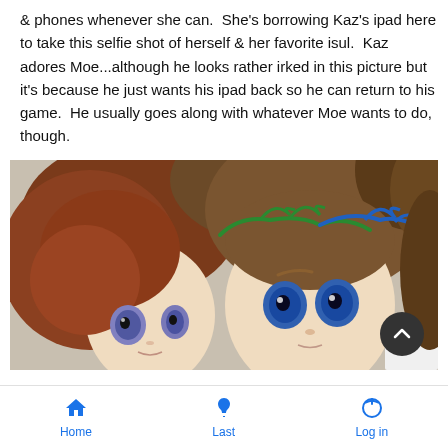& phones whenever she can.  She's borrowing Kaz's ipad here to take this selfie shot of herself & her favorite isul.  Kaz adores Moe...although he looks rather irked in this picture but it's because he just wants his ipad back so he can return to his game.  He usually goes along with whatever Moe wants to do, though.
[Figure (photo): Two doll heads with brown hair close together. Left doll has reddish-brown hair and purple eyes. Center doll has brown hair with green and blue yarn/string accessories and blue eyes. A third doll with brown hair is partially visible on the right edge.]
Home  Last  Log in